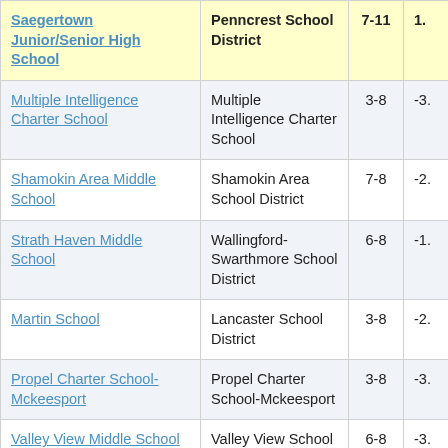| School | District | Grades | Score |
| --- | --- | --- | --- |
| Saegertown Junior/Senior High School | Penncrest School District | 7-11 | 1. |
| Multiple Intelligence Charter School | Multiple Intelligence Charter School | 3-8 | -3. |
| Shamokin Area Middle School | Shamokin Area School District | 7-8 | -2. |
| Strath Haven Middle School | Wallingford-Swarthmore School District | 6-8 | -1. |
| Martin School | Lancaster School District | 3-8 | -2. |
| Propel Charter School-Mckeesport | Propel Charter School-Mckeesport | 3-8 | -3. |
| Valley View Middle School | Valley View School District | 6-8 | -3. |
|  |  |  |  |